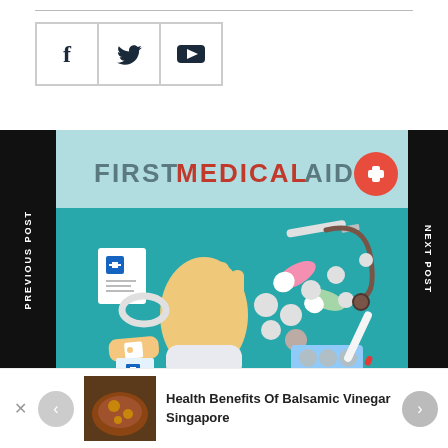[Figure (other): Social media share icons: Facebook (f), Twitter (bird), YouTube (play button), each in a square bordered box]
PREVIOUS POST
NEXT POST
[Figure (illustration): First Medical Aid illustration: teal background with a hand, pills, capsules, syringe, bandage, stethoscope, blister packs, thermometer, and medical documents. Title reads FIRST MEDICAL AID with a red plus circle button.]
[Figure (photo): Thumbnail photo of Balsamic Vinegar dish]
Health Benefits Of Balsamic Vinegar Singapore